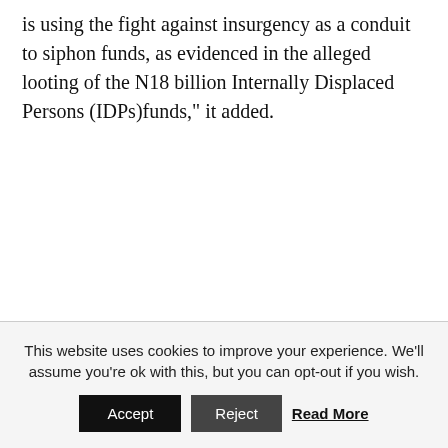is using the fight against insurgency as a conduit to siphon funds, as evidenced in the alleged looting of the N18 billion Internally Displaced Persons (IDPs)funds,” it added.
This website uses cookies to improve your experience. We’ll assume you’re ok with this, but you can opt-out if you wish.
Accept
Reject
Read More